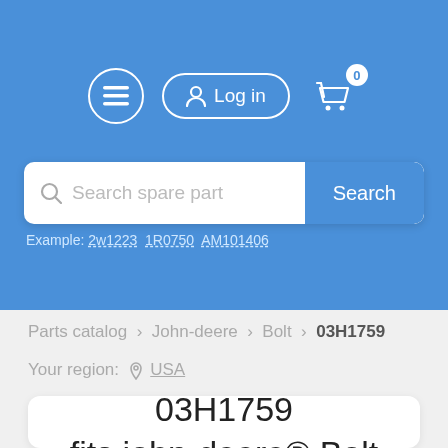[Figure (screenshot): Blue navigation header with hamburger menu icon, Log in button with user icon, and shopping cart icon with badge showing 0]
[Figure (screenshot): Search bar with placeholder text 'Search spare part' and blue Search button]
Example: 2w1223  1R0750  AM101406
Parts catalog > John-deere > Bolt > 03H1759
Your region: USA
03H1759
fits john-deere® Bolt